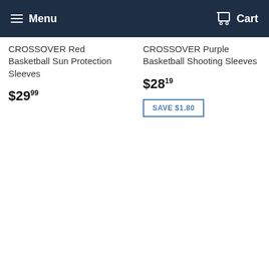Menu  Cart
CROSSOVER Red Basketball Sun Protection Sleeves
$29.99
CROSSOVER Purple Basketball Shooting Sleeves
$28.19
SAVE $1.80